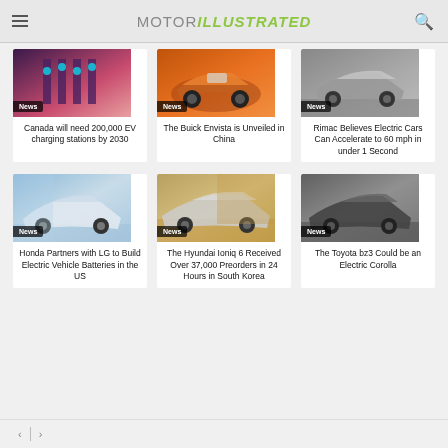MOTOR ILLUSTRATED
[Figure (photo): EV charging station with dramatic purple/pink lighting]
News
Canada will need 200,000 EV charging stations by 2030
[Figure (photo): Orange Buick Envista SUV facing forward]
News
The Buick Envista is Unveiled in China
[Figure (photo): Silver Rimac sports car on wet road]
News
Rimac Believes Electric Cars Can Accelerate to 60 mph in under 1 Second
[Figure (photo): White Honda electric SUV in snowy forest setting]
News
Honda Partners with LG to Build Electric Vehicle Batteries in the US
[Figure (photo): Hyundai Ioniq 6 parked outside modern building]
News
The Hyundai Ioniq 6 Received Over 37,000 Preorders in 24 Hours in South Korea
[Figure (photo): Dark Toyota bz3 electric sedan]
News
The Toyota bz3 Could be an Electric Corolla
< >